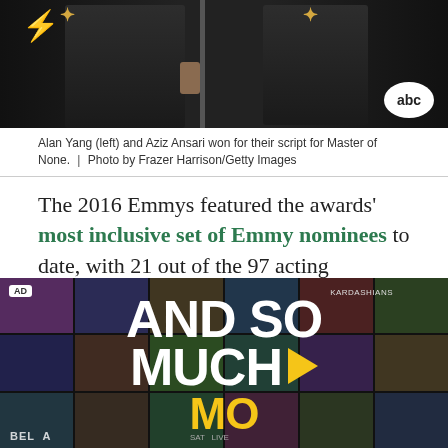[Figure (photo): Alan Yang (left) and Aziz Ansari in suits holding Emmy trophies at award ceremony, ABC logo visible in corner]
Alan Yang (left) and Aziz Ansari won for their script for Master of None.  |  Photo by Frazer Harrison/Getty Images
The 2016 Emmys featured the awards' most inclusive set of Emmy nominees to date, with 21 out of the 97 acting honorees — across the comedy, drama, and limited series categories — being people of color.
[Figure (advertisement): Advertisement showing streaming content collage with text 'AND SO MUCH MORE' in large white letters with yellow play button triangle]